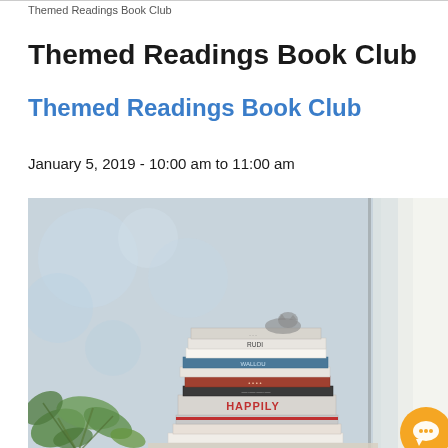Themed Readings Book Club
Themed Readings Book Club
January 5, 2019 - 10:00 am to 11:00 am
[Figure (photo): A stack of books piled on a windowsill with a green plant in the foreground and white curtains on the right, soft natural light in the background.]